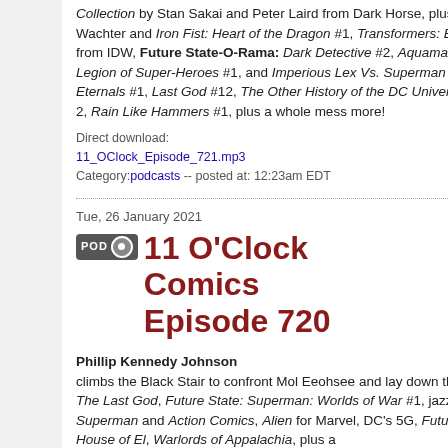Collection by Stan Sakai and Peter Laird from Dark Horse, plus Dave Wachter and Iron Fist: Heart of the Dragon #1, Transformers: Escape #1 from IDW, Future State-O-Rama: Dark Detective #2, Aquaman #1, Legion of Super-Heroes #1, and Imperious Lex Vs. Superman #1, Eternals #1, Last God #12, The Other History of the DC Universe Book 2, Rain Like Hammers #1, plus a whole mess more!
Direct download: 11_OClock_Episode_721.mp3 Category: podcasts -- posted at: 12:23am EDT
Tue, 26 January 2021
11 O'Clock Comics Episode 720
Phillip Kennedy Johnson climbs the Black Stair to confront Mol Eeohsee and lay down the law on The Last God, Future State: Superman: Worlds of War #1, jazz, Superman and Action Comics, Alien for Marvel, DC's 5G, Future State: House of El, Warlords of Appalachia, plus a